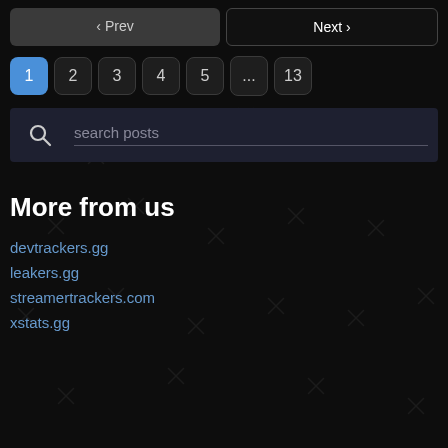[Figure (screenshot): Pagination navigation with Prev and Next buttons, and page numbers 1 (active/blue), 2, 3, 4, 5, ..., 13 on a dark background with X pattern]
[Figure (screenshot): Search bar with magnifying glass icon and placeholder text 'search posts' on dark navy background]
More from us
devtrackers.gg
leakers.gg
streamertrackers.com
xstats.gg